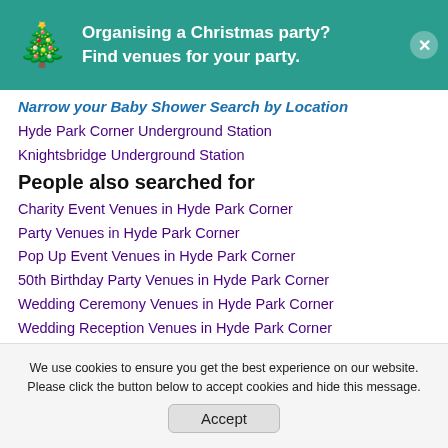[Figure (infographic): Teal banner with Christmas tree emoji and text 'Organising a Christmas party? Find venues for your party.' with a close button.]
Narrow your Baby Shower Search by Location
Hyde Park Corner Underground Station
Knightsbridge Underground Station
People also searched for
Charity Event Venues in Hyde Park Corner
Party Venues in Hyde Park Corner
Pop Up Event Venues in Hyde Park Corner
50th Birthday Party Venues in Hyde Park Corner
Wedding Ceremony Venues in Hyde Park Corner
Wedding Reception Venues in Hyde Park Corner
Meeting Room Venues in Hyde Park Corner
Funeral Reception Venues in Hyde Park Corner
Training Room Venues in Hyde Park Corner
We use cookies to ensure you get the best experience on our website. Please click the button below to accept cookies and hide this message.
Accept